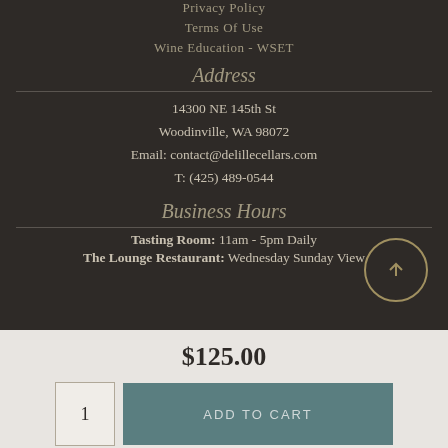Privacy Policy
Terms Of Use
Wine Education - WSET
Address
14300 NE 145th St
Woodinville, WA 98072
Email: contact@delillecellars.com
T: (425) 489-0544
Business Hours
Tasting Room: 11am - 5pm Daily
The Lounge Restaurant: Wednesday Sunday View
$125.00
1
ADD TO CART